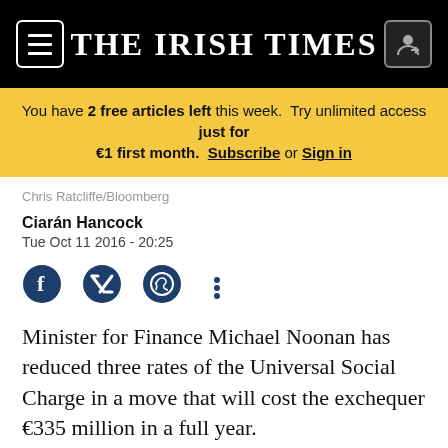THE IRISH TIMES
You have 2 free articles left this week. Try unlimited access just for €1 first month. Subscribe or Sign in
Chris Ratcliffe/Bloomberg
Ciarán Hancock
Tue Oct 11 2016 - 20:25
[Figure (other): Social media sharing icons: Facebook, Twitter, WhatsApp, more options]
Minister for Finance Michael Noonan has reduced three rates of the Universal Social Charge in a move that will cost the exchequer €335 million in a full year.